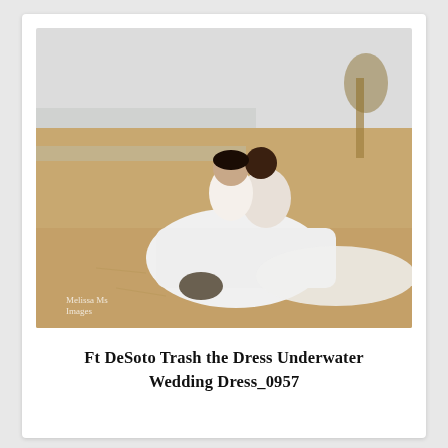[Figure (photo): A couple in wedding attire sitting on a sandy beach. The bride wears a white flowing wedding dress and the groom wears a white shirt and tan pants. They are seated together on the sand near the water's edge with a tree visible in the background.]
Ft DeSoto Trash the Dress Underwater Wedding Dress_0957
[Figure (photo): A partially visible beach photo showing two people close together, cropped at the bottom of the page.]